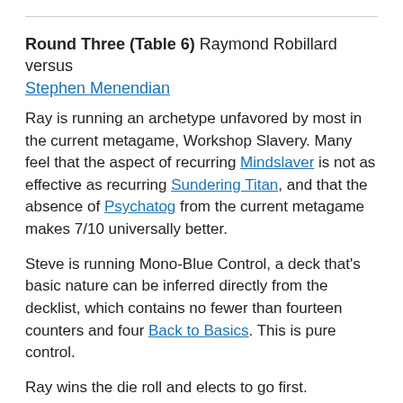Round Three (Table 6) Raymond Robillard versus Stephen Menendian
Ray is running an archetype unfavored by most in the current metagame, Workshop Slavery. Many feel that the aspect of recurring Mindslaver is not as effective as recurring Sundering Titan, and that the absence of Psychatog from the current metagame makes 7/10 universally better.
Steve is running Mono-Blue Control, a deck that's basic nature can be inferred directly from the decklist, which contains no fewer than fourteen counters and four Back to Basics. This is pure control.
Ray wins the die roll and elects to go first.
He keeps an opening hand of Black Lotus, Brainstorm,